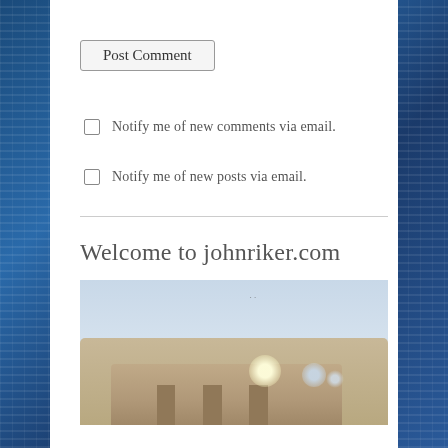Post Comment
Notify me of new comments via email.
Notify me of new posts via email.
Welcome to johnriker.com
[Figure (photo): Blurred photo of an ancient building or ruin with bokeh lights, pale blue sky in background, possibly the Acropolis or similar ancient structure. A small drone or bird is visible in the upper portion of the sky.]